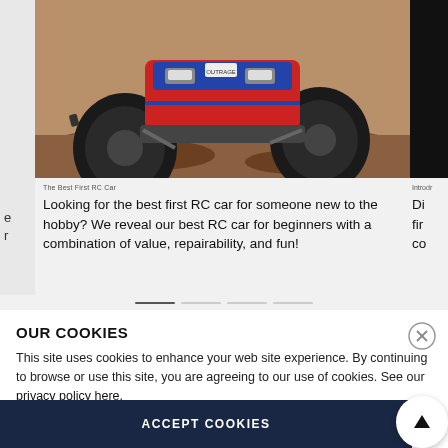[Figure (photo): RC monster truck on dirt terrain, red/blue/gray, with large off-road tires, viewed from front-low angle]
The Best First RC Car
Looking for the best first RC car for someone new to the hobby? We reveal our best RC car for beginners with a combination of value, repairability, and fun!
OUR COOKIES
This site uses cookies to enhance your web site experience. By continuing to browse or use this site, you are agreeing to our use of cookies. See our privacy policy here.
ACCEPT COOKIES